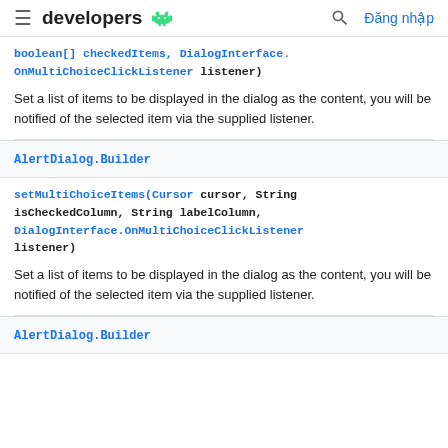developers [android logo] [search icon] Đăng nhập
boolean[] checkedItems, DialogInterface.OnMultiChoiceClickListener listener)
Set a list of items to be displayed in the dialog as the content, you will be notified of the selected item via the supplied listener.
AlertDialog.Builder
setMultiChoiceItems(Cursor cursor, String isCheckedColumn, String labelColumn, DialogInterface.OnMultiChoiceClickListener listener)
Set a list of items to be displayed in the dialog as the content, you will be notified of the selected item via the supplied listener.
AlertDialog.Builder